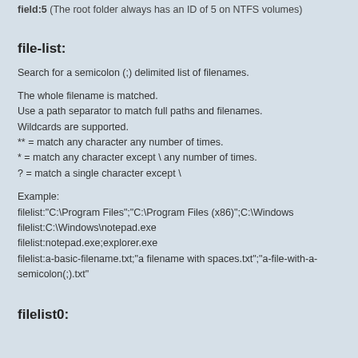field:5 (The root folder always has an ID of 5 on NTFS volumes)
file-list:
Search for a semicolon (;) delimited list of filenames.
The whole filename is matched.
Use a path separator to match full paths and filenames.
Wildcards are supported.
** = match any character any number of times.
* = match any character except \ any number of times.
? = match a single character except \
Example:
filelist:"C:\Program Files";"C:\Program Files (x86)";C:\Windows
filelist:C:\Windows\notepad.exe
filelist:notepad.exe;explorer.exe
filelist:a-basic-filename.txt;"a filename with spaces.txt";"a-file-with-a-semicolon(;).txt"
filelist0: